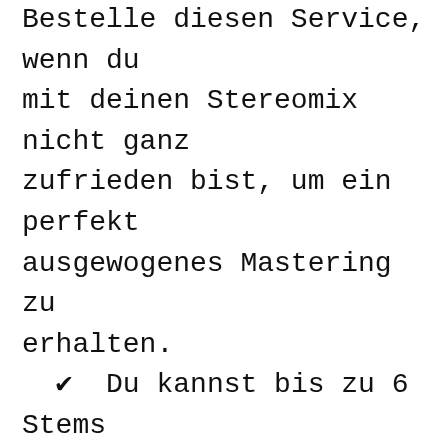Bestelle diesen Service, wenn du mit deinen Stereomix nicht ganz zufrieden bist, um ein perfekt ausgewogenes Mastering zu erhalten.
✔ Du kannst bis zu 6 Stems (gruppierte Instrumentenspuren) für jeden Song zusenden. Beim Online Stem Mixing werden diese 6 Gruppen dann einzeln bearbeitet um deinen Musikproduktion optimal in Szene zu setzen. Somit habe ich mehr Kontrolle über die einzelnen Klangelemente, damit ich deine